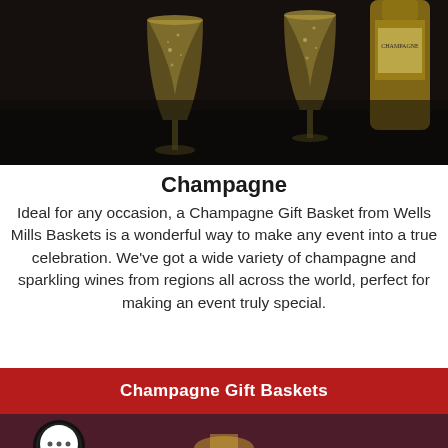[Figure (photo): Two champagne flutes filled with sparkling wine, with a champagne bottle in the background on a dark surface.]
Champagne
Ideal for any occasion, a Champagne Gift Basket from Wells Mills Baskets is a wonderful way to make any event into a true celebration. We've got a wide variety of champagne and sparkling wines from regions all across the world, perfect for making an event truly special.
Champagne Gift Baskets
[Figure (photo): Bottom portion of another champagne or wine related image with a chat bubble icon overlay showing ellipsis (...)]